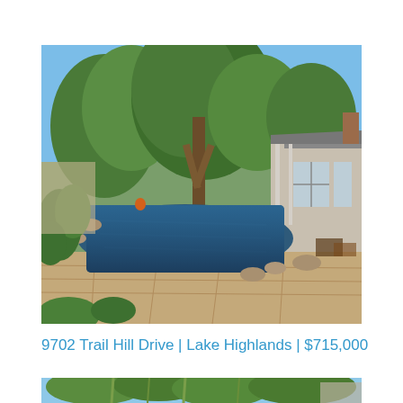[Figure (photo): Backyard pool with natural stone surround, lush greenery and large oak trees, with a house featuring a covered patio and porch visible on the right side under a clear blue sky.]
9702 Trail Hill Drive | Lake Highlands | $715,000
[Figure (photo): Partial view of a property exterior with bamboo or ornamental grasses and trees in front of a house under blue sky.]